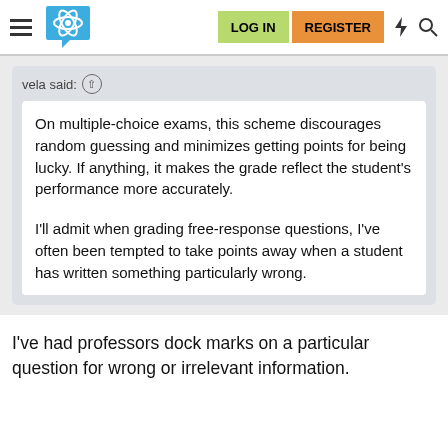LOG IN  REGISTER
vela said:
On multiple-choice exams, this scheme discourages random guessing and minimizes getting points for being lucky. If anything, it makes the grade reflect the student's performance more accurately.

I'll admit when grading free-response questions, I've often been tempted to take points away when a student has written something particularly wrong.
I've had professors dock marks on a particular question for wrong or irrelevant information.